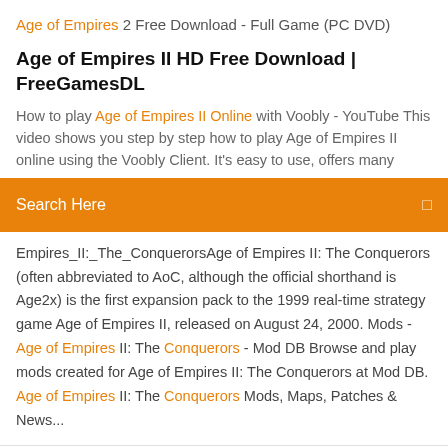Age of Empires 2 Free Download - Full Game (PC DVD)
Age of Empires II HD Free Download | FreeGamesDL
How to play Age of Empires II Online with Voobly - YouTube This video shows you step by step how to play Age of Empires II online using the Voobly Client. It's easy to use, offers many
Search Here
Empires_II:_The_ConquerorsAge of Empires II: The Conquerors (often abbreviated to AoC, although the official shorthand is Age2x) is the first expansion pack to the 1999 real-time strategy game Age of Empires II, released on August 24, 2000. Mods - Age of Empires II: The Conquerors - Mod DB Browse and play mods created for Age of Empires II: The Conquerors at Mod DB. Age of Empires II: The Conquerors Mods, Maps, Patches & News...
Age of Empires II: The Conquerors has some pretty neat